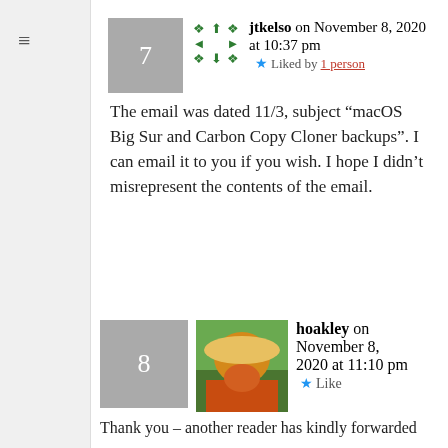jtkelso on November 8, 2020 at 10:37 pm — Liked by 1 person
The email was dated 11/3, subject “macOS Big Sur and Carbon Copy Cloner backups”. I can email it to you if you wish. I hope I didn’t misrepresent the contents of the email.
hoakley on November 8, 2020 at 11:10 pm — Like
Thank you – another reader has kindly forwarded me a copy.
Unfortunately, because that was sent around the time that a ‘fixed’ version of Big Sur was made available, and the message doesn’t specify...